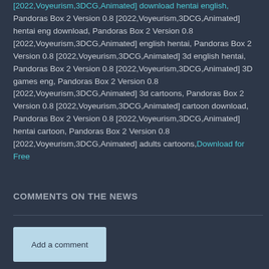[2022,Voyeurism,3DCG,Animated] download hentai english, Pandoras Box 2 Version 0.8 [2022,Voyeurism,3DCG,Animated] hentai eng download, Pandoras Box 2 Version 0.8 [2022,Voyeurism,3DCG,Animated] english hentai, Pandoras Box 2 Version 0.8 [2022,Voyeurism,3DCG,Animated] 3d english hentai, Pandoras Box 2 Version 0.8 [2022,Voyeurism,3DCG,Animated] 3D games eng, Pandoras Box 2 Version 0.8 [2022,Voyeurism,3DCG,Animated] 3d cartoons, Pandoras Box 2 Version 0.8 [2022,Voyeurism,3DCG,Animated] cartoon download, Pandoras Box 2 Version 0.8 [2022,Voyeurism,3DCG,Animated] hentai cartoon, Pandoras Box 2 Version 0.8 [2022,Voyeurism,3DCG,Animated] adults cartoons, Download for Free
COMMENTS ON THE NEWS
Add a comment